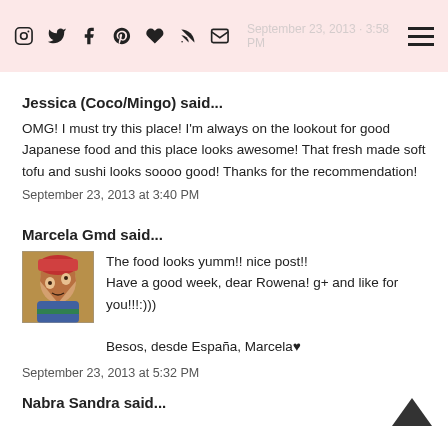September 23, 2013 3:58 PM [social icons and hamburger menu]
Jessica (Coco/Mingo) said...
OMG! I must try this place! I'm always on the lookout for good Japanese food and this place looks awesome! That fresh made soft tofu and sushi looks soooo good! Thanks for the recommendation!
September 23, 2013 at 3:40 PM
Marcela Gmd said...
The food looks yumm!! nice post!!
Have a good week, dear Rowena! g+ and like for you!!!:)))

Besos, desde España, Marcela♥
September 23, 2013 at 5:32 PM
Nabra Sandra said...